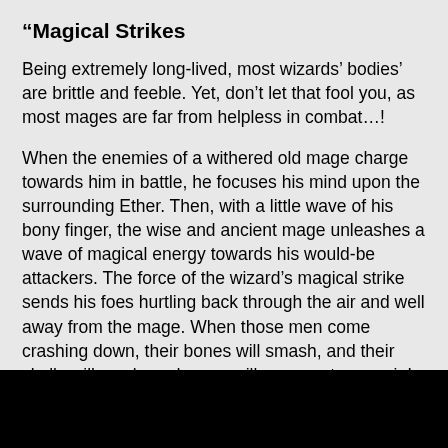“Magical Strikes
Being extremely long-lived, most wizards’ bodies’ are brittle and feeble. Yet, don’t let that fool you, as most mages are far from helpless in combat…!
When the enemies of a withered old mage charge towards him in battle, he focuses his mind upon the surrounding Ether. Then, with a little wave of his bony finger, the wise and ancient mage unleashes a wave of magical energy towards his would-be attackers. The force of the wizard’s magical strike sends his foes hurtling back through the air and well away from the mage. When those men come crashing down, their bones will smash, and their skulls will crack, and some will never get up again!